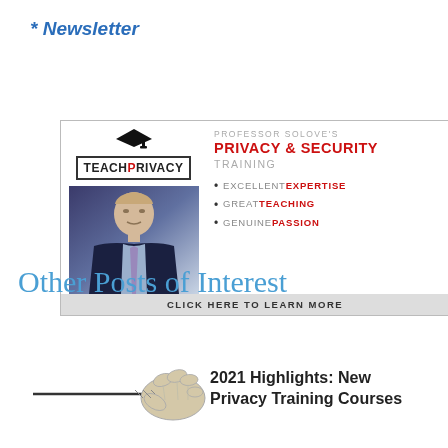* Newsletter
[Figure (illustration): TeachPrivacy advertisement banner featuring Professor Solove's Privacy & Security Training with bullet points: Excellent Expertise, Great Teaching, Genuine Passion, and a Click Here to Learn More footer button.]
Other Posts of Interest
[Figure (illustration): Illustration of a gloved hand holding a pointer or rod, used as a thumbnail for a post.]
2021 Highlights: New Privacy Training Courses